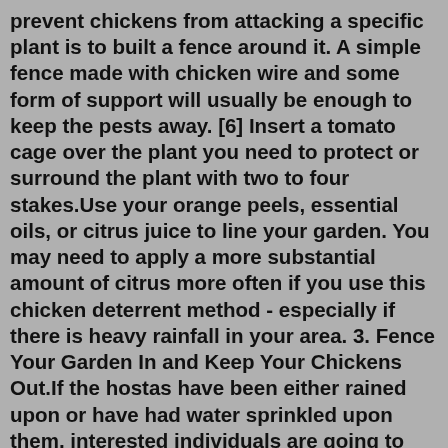prevent chickens from attacking a specific plant is to built a fence around it. A simple fence made with chicken wire and some form of support will usually be enough to keep the pests away. [6] Insert a tomato cage over the plant you need to protect or surround the plant with two to four stakes.Use your orange peels, essential oils, or citrus juice to line your garden. You may need to apply a more substantial amount of citrus more often if you use this chicken deterrent method - especially if there is heavy rainfall in your area. 3. Fence Your Garden In and Keep Your Chickens Out.If the hostas have been either rained upon or have had water sprinkled upon them, interested individuals are going to need to sprinkle them with baby powder once more in order to maintain that protection. Sprinkle Garlic Salt Garlic has a very strong smell. Even for humans, that smell can be too much to be borne. Rabbits have very keen noses.Animated natural predators that make sounds when approached. Motion-activated sprinkler system or manual set to go off several times a day. 5. Spray...